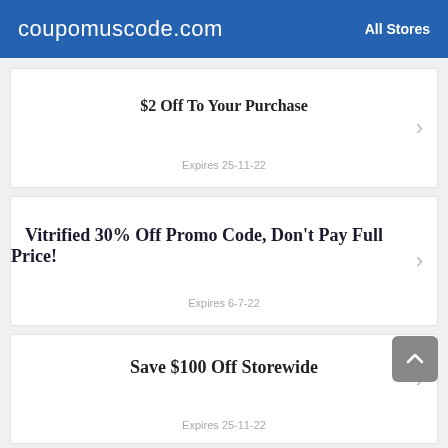coupomuscode.com   All Stores
$2 Off To Your Purchase
Expires 25-11-22
Vitrified 30% Off Promo Code, Don't Pay Full Price!
Expires 6-7-22
Save $100 Off Storewide
Expires 25-11-22